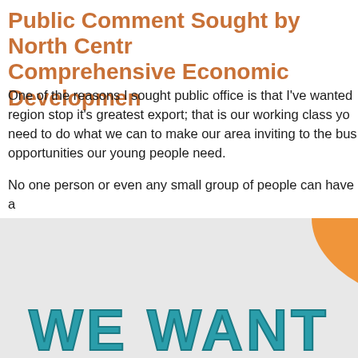Public Comment Sought by North Central Regional Planning Comprehensive Economic Development...
One of the reasons I sought public office is that I've wanted to help our region stop it's greatest export; that is our working class youth. We need to do what we can to make our area inviting to the businesses and opportunities our young people need.
No one person or even any small group of people can have all the answers. Recognizing that I'm joining with North Central Regional D... asking everyone to give some thought to what they believe... participate in providing your ideas through the web site bel...
This absolutely has to be a team effort from everyone in th...
[Figure (illustration): Graphic with light gray background showing an orange half-circle at the top and large teal bold text reading 'WE WANT' at the bottom]